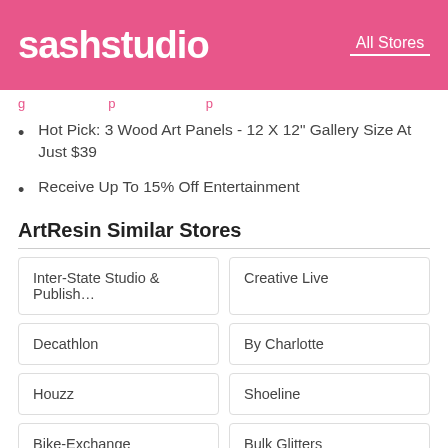sashstudio — All Stores
g p p
Hot Pick: 3 Wood Art Panels - 12 X 12" Gallery Size At Just $39
Receive Up To 15% Off Entertainment
ArtResin Similar Stores
| Inter-State Studio & Publish... | Creative Live |
| Decathlon | By Charlotte |
| Houzz | Shoeline |
| Bike-Exchange | Bulk Glitters |
| Makeup Eraser | Lavish Alice |